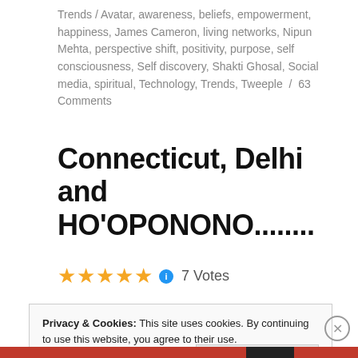Trends / Avatar, awareness, beliefs, empowerment, happiness, James Cameron, living networks, Nipun Mehta, perspective shift, positivity, purpose, self consciousness, Self discovery, Shakti Ghosal, Social media, spiritual, Technology, Trends, Tweeple / 63 Comments
Connecticut, Delhi and HO'OPONONO........
★★★★★ ℹ 7 Votes
Privacy & Cookies: This site uses cookies. By continuing to use this website, you agree to their use.
To find out more, including how to control cookies, see here:
Cookie Policy
Close and accept